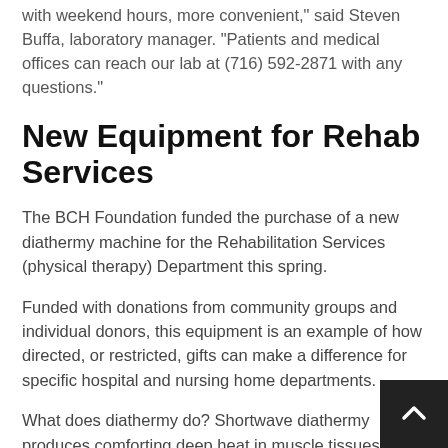with weekend hours, more convenient," said Steven Buffa, laboratory manager. "Patients and medical offices can reach our lab at (716) 592-2871 with any questions."
New Equipment for Rehab Services
The BCH Foundation funded the purchase of a new diathermy machine for the Rehabilitation Services (physical therapy) Department this spring.
Funded with donations from community groups and individual donors, this equipment is an example of how directed, or restricted, gifts can make a difference for specific hospital and nursing home departments.
What does diathermy do? Shortwave diathermy produces comforting deep heat in muscle tissues and is used when clinician needs to provide deep heat to a larger area than